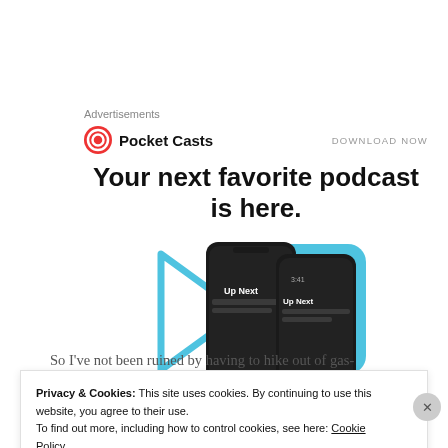Advertisements
[Figure (screenshot): Pocket Casts advertisement banner with logo, 'DOWNLOAD NOW' link, headline 'Your next favorite podcast is here.' and phone mockup screenshots with play icons in blue]
So I've not been ruined by having to hike out of gas-
Privacy & Cookies: This site uses cookies. By continuing to use this website, you agree to their use.
To find out more, including how to control cookies, see here: Cookie Policy
Close and accept